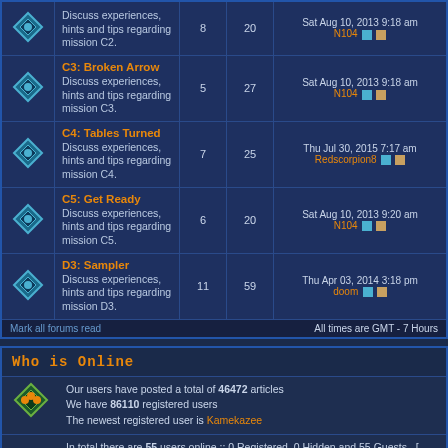| Icon | Topic | Posts | Views | Last Post |
| --- | --- | --- | --- | --- |
|  | C3: Broken Arrow
Discuss experiences, hints and tips regarding mission C3. | 5 | 27 | Sat Aug 10, 2013 9:18 am
N104 |
|  | C4: Tables Turned
Discuss experiences, hints and tips regarding mission C4. | 7 | 25 | Thu Jul 30, 2015 7:17 am
Redscorpion8 |
|  | C5: Get Ready
Discuss experiences, hints and tips regarding mission C5. | 6 | 20 | Sat Aug 10, 2013 9:20 am
N104 |
|  | D3: Sampler
Discuss experiences, hints and tips regarding mission D3. | 11 | 59 | Thu Apr 03, 2014 3:18 pm
doom |
Mark all forums read
All times are GMT - 7 Hours
Who is Online
Our users have posted a total of 46472 articles
We have 86110 registered users
The newest registered user is Kamekazee
In total there are 55 users online :: 0 Registered, 0 Hidden and 55 Guests  [ Administrator ]  [ Moderator ]
Most users ever online was 755 on Fri Apr 10, 2020 2:54 am
Registered Users: None